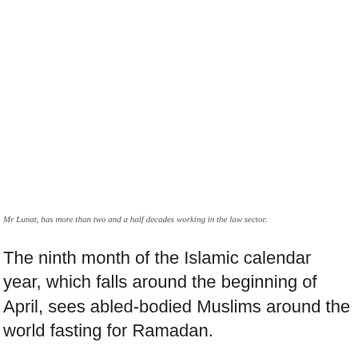Mr Lunat, has more than two and a half decades working in the law sector.
The ninth month of the Islamic calendar year, which falls around the beginning of April, sees abled-bodied Muslims around the world fasting for Ramadan.